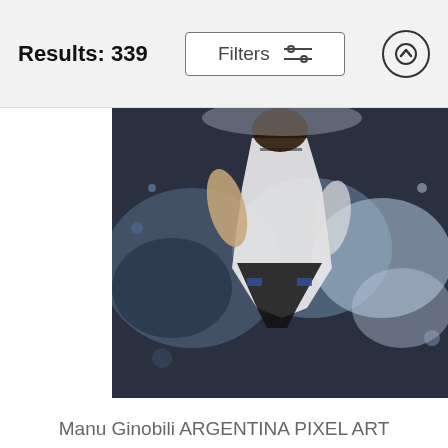Results: 339
[Figure (photo): Close-up action photo of a San Antonio Spurs NBA basketball player in white uniform, rendered in an artistic watercolor/paint splatter style with blue and dark tones]
San Antonio Spurs NBA Basketball Team, Basketball Player, Sports Posters for fans Carry-all Pouch
Drawspots Illustrations
$25 $20
Manu Ginobili ARGENTINA PIXEL ART